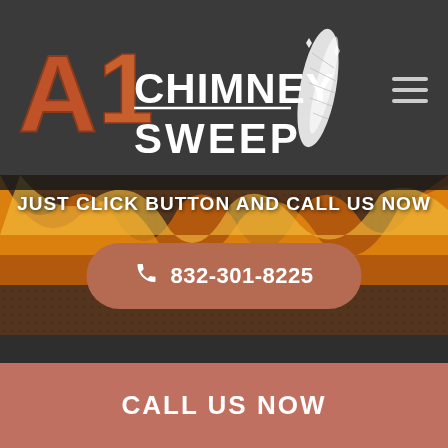[Figure (logo): A1 Chimney Sweep logo with stylized text and feather icon on dark background header]
JUST CLICK BUTTON AND CALL US NOW
832-301-8225
[Figure (photo): Fireplace with flames and decorative log holder, dark brownish background]
CALL US NOW